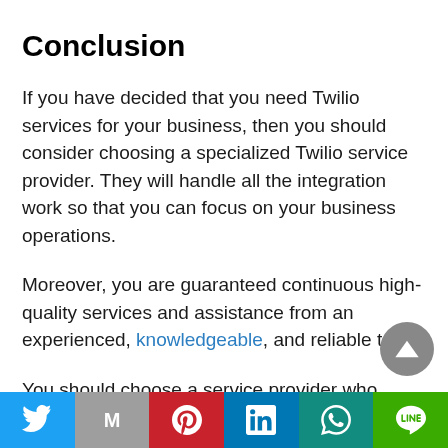Conclusion
If you have decided that you need Twilio services for your business, then you should consider choosing a specialized Twilio service provider. They will handle all the integration work so that you can focus on your business operations.
Moreover, you are guaranteed continuous high-quality services and assistance from an experienced, knowledgeable, and reliable team.
You should choose a service provider who offers